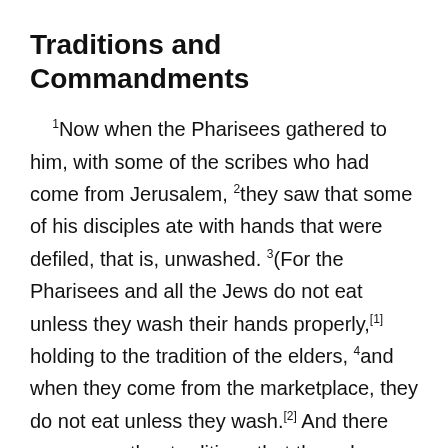Traditions and Commandments
1Now when the Pharisees gathered to him, with some of the scribes who had come from Jerusalem, 2they saw that some of his disciples ate with hands that were defiled, that is, unwashed. 3(For the Pharisees and all the Jews do not eat unless they wash their hands properly,[1] holding to the tradition of the elders, 4and when they come from the marketplace, they do not eat unless they wash.[2] And there are many other traditions that they observe, such as the washing of cups and pots and copper vessels and dining couches.[3]) 5And the Pharisees and the scribes asked him, “Why do your disciples not walk according to the tradition of th